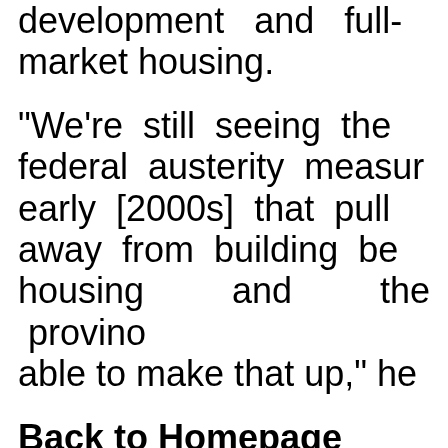development and full-market housing.
“We’re still seeing the federal austerity measures early [2000s] that pulled away from building below housing and the provinces able to make that up,” he
Back to Homepage